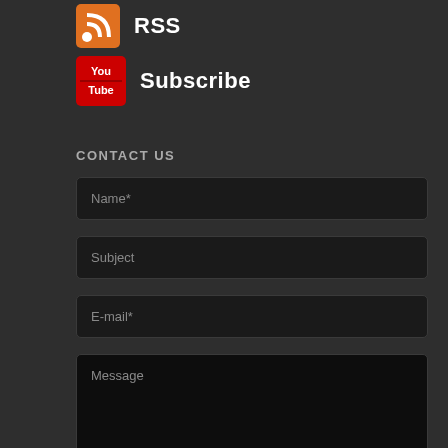[Figure (logo): RSS feed icon (orange) next to RSS label]
RSS
[Figure (logo): YouTube icon (red) next to Subscribe label]
Subscribe
CONTACT US
Name*
Subject
E-mail*
Message